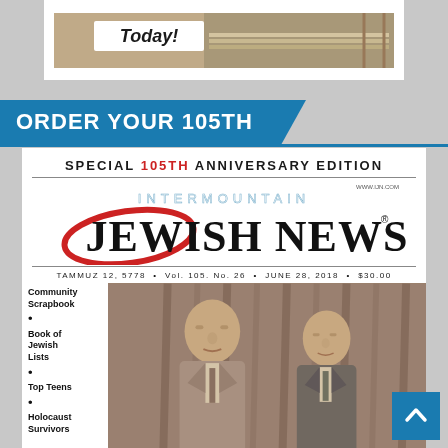[Figure (photo): Top advertisement area with 'Today!' text overlay on a construction/building photo]
ORDER YOUR 105TH
[Figure (photo): Intermountain Jewish News Special 105th Anniversary Edition newspaper front page. Masthead shows 'INTERMOUNTAIN JEWISH NEWS', dateline reads 'TAMMUZ 12, 5778 • Vol. 105. No. 26 • JUNE 28, 2018 • $30.00'. Sidebar lists: Community Scrapbook, Book of Jewish Lists, Top Teens, Holocaust Survivors. Center photo shows two men in suits, sepia/vintage style.]